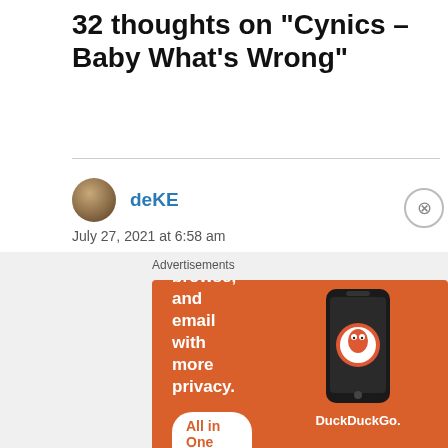32 thoughts on "Cynics – Baby What's Wrong"
deKE
July 27, 2021 at 6:58 am
I hear some Sloan in that chorus Max. Good stuff. Where do u find this stuff?
★ Liked by 2 people
Log in to Reply
Advertisements
[Figure (infographic): DuckDuckGo advertisement banner with orange background, phone graphic, text 'Search, browse, and email with more privacy. All in One Free App', and DuckDuckGo logo]